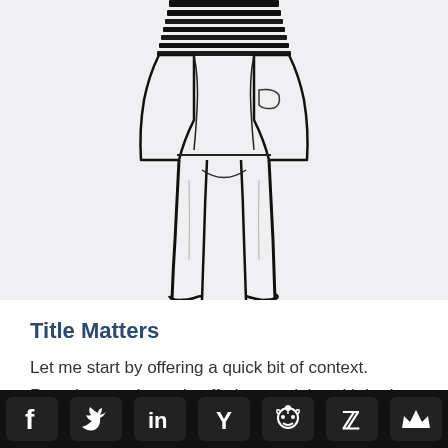[Figure (illustration): Sketch illustration of a person's lower body wearing striped top and trousers, shown from waist down]
Title Matters
Let me start by offering a quick bit of context.  Recruiters and people offering you jobs with bad titles will tell you that titles don't matter.  Don't listen to recruiters and
Social sharing bar with Facebook, Twitter, LinkedIn, Hacker News, Reddit, Ello, and crown icons